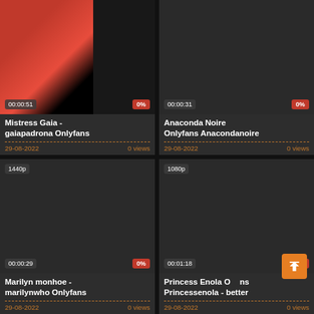[Figure (screenshot): Video thumbnail grid card 1: Mistress Gaia video, partial image showing red top, duration 00:00:51, 0% rating]
Mistress Gaia - gaiapadrona Onlyfans
29-08-2022 | 0 views
[Figure (screenshot): Video thumbnail grid card 2: Anaconda Noire dark thumbnail, duration 00:00:31, 0% rating]
Anaconda Noire Onlyfans Anacondanoire
29-08-2022 | 0 views
[Figure (screenshot): Video thumbnail grid card 3: Marilyn monhoe dark thumbnail, 1440p quality, duration 00:00:29, 0% rating]
Marilyn monhoe - marilynwho Onlyfans
29-08-2022 | 0 views
[Figure (screenshot): Video thumbnail grid card 4: Princess Enola Onlyfans dark thumbnail, 1080p quality, duration 00:01:18, 0% rating]
Princess Enola Onlyfans Princessenola - better
29-08-2022 | 0 views